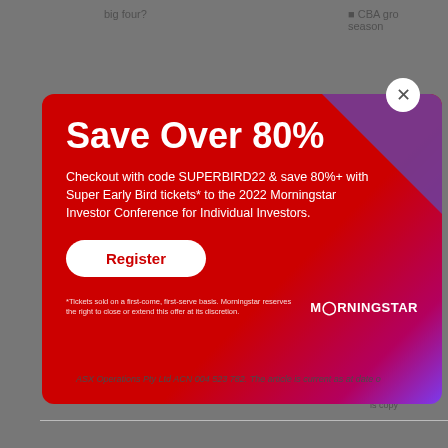big four?
CBA grow season
[Figure (screenshot): Morningstar promotional modal overlay with red-to-purple gradient background. Title: 'Save Over 80%'. Body text: 'Checkout with code SUPERBIRD22 & save 80%+ with Super Early Bird tickets* to the 2022 Morningstar Investor Conference for Individual Investors.' Register button (white pill with red text). Morningstar logo bottom right. Footnote about first-come basis. Close button (white circle with X) in top right.]
ar[dot]co
affiliates ely nor v cial pur cal advi Ltd (AE subsidi nformati ). Our p sole sou available future p is copy
ASX Operations Pty Ltd ACN 004 523 782. The article is current as at date o